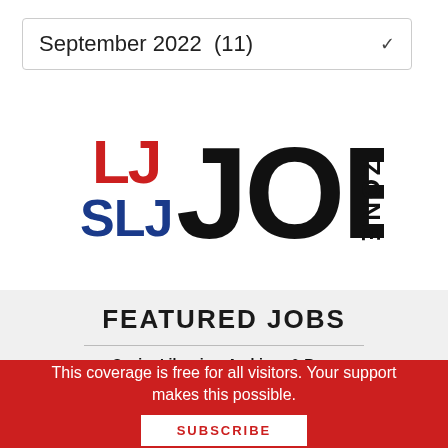September 2022  (11)
[Figure (logo): LJ SLJ JOB ZONE logo with red LJ, blue SLJ, large black JOB, and vertical ZONE text]
FEATURED JOBS
Senior Librarian, Archives & Rare Books Library
This coverage is free for all visitors. Your support makes this possible.
SUBSCRIBE